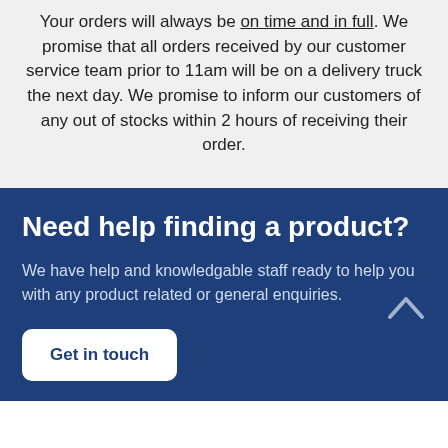Your orders will always be on time and in full. We promise that all orders received by our customer service team prior to 11am will be on a delivery truck the next day. We promise to inform our customers of any out of stocks within 2 hours of receiving their order.
Need help finding a product?
We have help and knowledgable staff ready to help you with any product related or general enquiries.
Get in touch